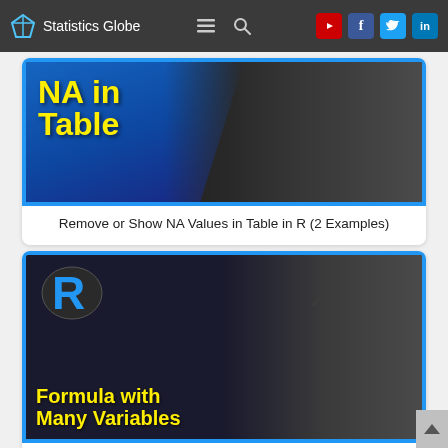Statistics Globe
[Figure (screenshot): Thumbnail for 'Remove or Show NA Values in Table in R' showing bold yellow text 'NA in Table' on blue/dark background with a person thinking]
Remove or Show NA Values in Table in R (2 Examples)
[Figure (screenshot): Thumbnail for 'Write Model Formula with Many Variables of Data Frame in R' showing R logo, bold yellow text 'Formula with Many Variables' on dark background with a smiling man]
Write Model Formula with Many Variables of Data Frame in R (5 Examples)